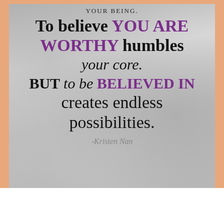[Figure (illustration): Motivational quote poster with stone/concrete textured background. Text reads: 'YOUR BEING. To believe YOU ARE WORTHY humbles your core. BUT to be BELIEVED IN creates endless possibilities. -Kristen Nan']